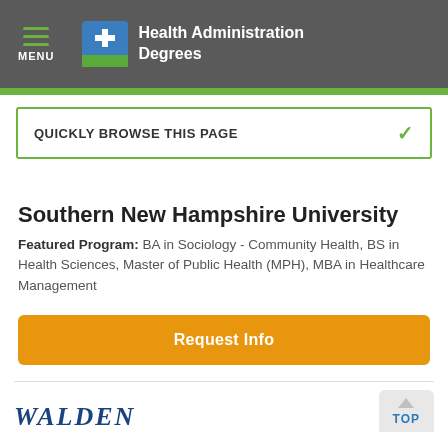MENU | Health Administration Degrees
QUICKLY BROWSE THIS PAGE
Southern New Hampshire University
Featured Program: BA in Sociology - Community Health, BS in Health Sciences, Master of Public Health (MPH), MBA in Healthcare Management
Request Info
[Figure (logo): WALDEN university logo text]
TOP